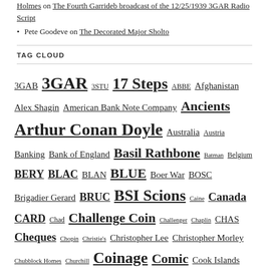Holmes on The Fourth Garrideb broadcast of the 12/25/1939 3GAR Radio Script
Pete Goodeve on The Decorated Major Sholto
TAG CLOUD
3GAB 3GAR 3STU 17 Steps ABBE Afghanistan Alex Shagin American Bank Note Company Ancients Arthur Conan Doyle Australia Austria Banking Bank of England Basil Rathbone Batman Belgium BERY BLAC BLAN BLUE Boer War BOSC Brigadier Gerard BRUC BSI Scions Caine Canada CARD Chad Challenge Coin Challenger Chaplin CHAS Cheques Chopin Christie's Christopher Lee Christopher Morley Chubblock Homes Churchill Coinage Comic Cook Islands Copernicus COPP Counterfeiting Cox & Co. Credit Card CREE CROO Crypto-Currency Cumberbatch Cushing Czech Republic DANC Data! Data! Data! Decorations DEVI Doubleday Dr. Who DYIN Edward VII Elizabeth II Ellery Queen Elongated EMPT Encased Coins ENGR Engraved Coins Fairy Film FINA Finest Pages FIVE